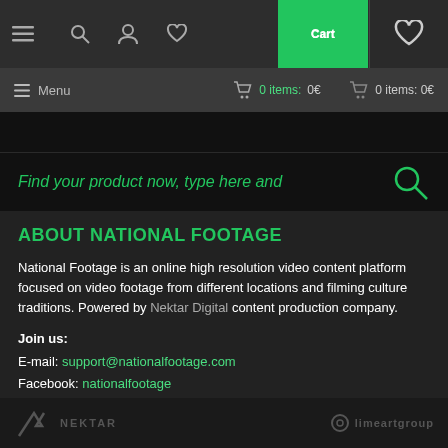[Figure (screenshot): Website navigation top bar with hamburger menu, search, user, heart icons and green cart button showing '0 items']
[Figure (screenshot): Secondary navigation bar with Menu label and cart showing '0 items: 0€']
[Figure (screenshot): Search bar with green italic placeholder text 'Find your product now, type here and' and search icon]
ABOUT NATIONAL FOOTAGE
National Footage is an online high resolution video content platform focused on video footage from different locations and filming culture traditions. Powered by Nektar Digital content production company.
Join us:
E-mail: support@nationalfootage.com
Facebook: nationalfootage
[Figure (logo): Nektar Digital logo and limeartgroup logo in footer]